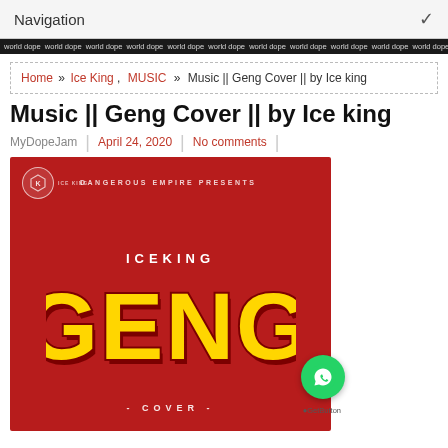Navigation
Home » Ice King , MUSIC » Music || Geng Cover || by Ice king
Music || Geng Cover || by Ice king
MyDopeJam | April 24, 2020 | No comments |
[Figure (illustration): Album art for Ice King - Geng Cover. Red background with 'DANGEROUS EMPIRE PRESENTS' text at top, Ice King logo badge, 'ICEKING' text, large stylized yellow 'GENG' text with dark red shadow, and '- COVER -' text at bottom.]